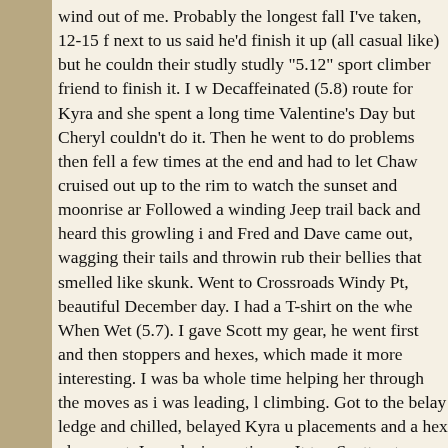wind out of me. Probably the longest fall I've taken, 12-15 f next to us said he'd finish it up (all casual like) but he couldn their studly studly "5.12" sport climber friend to finish it. I w Decaffeinated (5.8) route for Kyra and she spent a long time Valentine's Day but Cheryl couldn't do it. Then he went to do problems then fell a few times at the end and had to let Chaw cruised out up to the rim to watch the sunset and moonrise ar Followed a winding Jeep trail back and heard this growling i and Fred and Dave came out, wagging their tails and throwin rub their bellies that smelled like skunk. Went to Crossroads Windy Pt, beautiful December day. I had a T-shirt on the whe When Wet (5.7). I gave Scott my gear, he went first and then stoppers and hexes, which made it more interesting. I was ba whole time helping her through the moves as i was leading, l climbing. Got to the belay ledge and chilled, belayed Kyra u placements and a hex placement. I was losing patience. It too Scott put up Party Pooters then i was going to take him Jr Gr Fertile, well, i wasn't feeling fertile enough to get to the 1st b (5.10). The bottom was awkward and a little contrived, then (crux) then i looked up and the next bolt was 20 feet up with was supposed to be a placement so i dodged left and probabl much drag so i went back down and finally got my nerve and holds were there and i could find a placement. I look down a